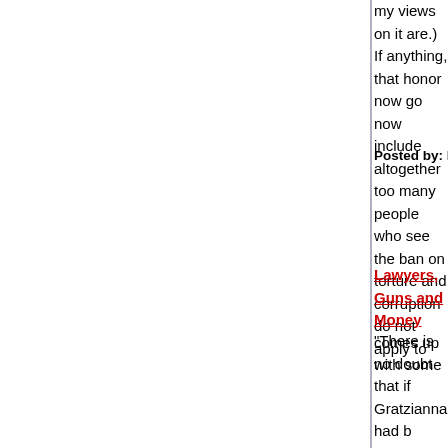my views on it are.) If anything, that honor now go now include altogether too many people who see the ban on torture and corruption do not apply to
Posted by: hilzoy | May 10, 2006 at 10:58 AM
Lawyers, Guns and Money comes up with some
"There is no doubt that if Gratzianna had b whose job was to perform tow truck opera have discharged him for refusing to contrib campaign or for supporting his opponent. settled that to fire a public employee as a request for political and financial support w unconstitutional condition on government e Respondents insist the principles of Elrod here, arguing that an independent contrac rights, unlike a public employee's, must yie asserted countervailing interest in sustaini We cannot accept the proposition, howeve the government's work outside the formal are subject to what we conclude is the dire abridgment of First Amendment rights des